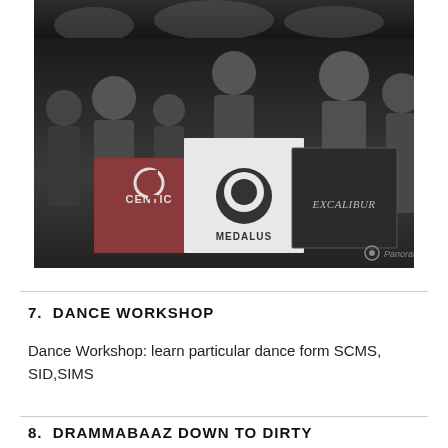[Figure (photo): Grayscale photo of a group of people holding banners/flags with logos including CENTIC, MEDALUS, and EXCALIBUR. Small Panorama watermark visible in bottom right corner.]
7.  DANCE WORKSHOP
Dance Workshop: learn particular dance form SCMS, SID,SIMS
8.  DRAMMABAAZ DOWN TO DIRTY